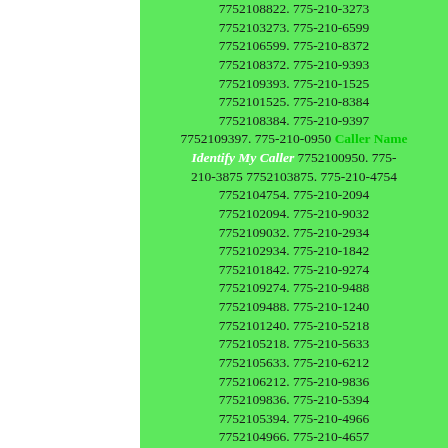7752108822. 775-210-3273 7752103273. 775-210-6599 7752106599. 775-210-8372 7752108372. 775-210-9393 7752109393. 775-210-1525 7752101525. 775-210-8384 7752108384. 775-210-9397 7752109397. 775-210-0950 Caller Name Identify My Caller 7752100950. 775-210-3875 7752103875. 775-210-4754 7752104754. 775-210-2094 7752102094. 775-210-9032 7752109032. 775-210-2934 7752102934. 775-210-1842 7752101842. 775-210-9274 7752109274. 775-210-9488 7752109488. 775-210-1240 7752101240. 775-210-5218 7752105218. 775-210-5633 7752105633. 775-210-6212 7752106212. 775-210-9836 7752109836. 775-210-5394 7752105394. 775-210-4966 7752104966. 775-210-4657 7752104657. 775-210-5158